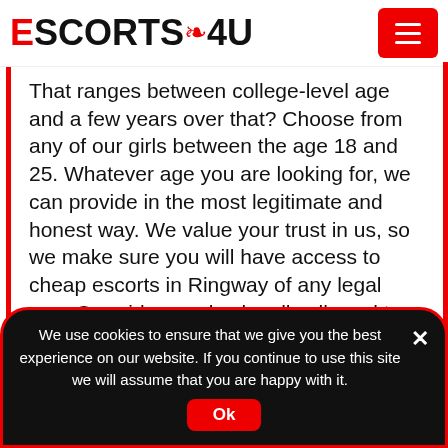ESCORTS4U
That ranges between college-level age and a few years over that? Choose from any of our girls between the age 18 and 25. Whatever age you are looking for, we can provide in the most legitimate and honest way. We value your trust in us, so we make sure you will have access to cheap escorts in Ringway of any legal age. Our girls are also legally allowed to work in the UK, especially those with different nationalities. You can hire a Russian or French companion or playmate and you can have peace of mind, knowing they have the authority to work in the UK...
We use cookies to ensure that we give you the best experience on our website. If you continue to use this site we will assume that you are happy with it. Ok